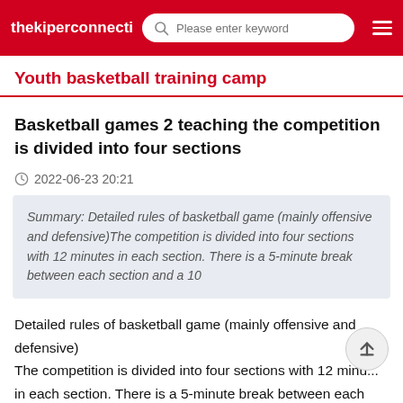thekiperconnection  Please enter keyword
Youth basketball training camp
Basketball games 2 teaching the competition is divided into four sections
2022-06-23 20:21
Summary: Detailed rules of basketball game (mainly offensive and defensive)The competition is divided into four sections with 12 minutes in each section. There is a 5-minute break between each section and a 10
Detailed rules of basketball game (mainly offensive and defensive)
The competition is divided into four sections with 12 minutes in each section. There is a 5-minute break between each section and a 10-minute halftime break. At the end of the